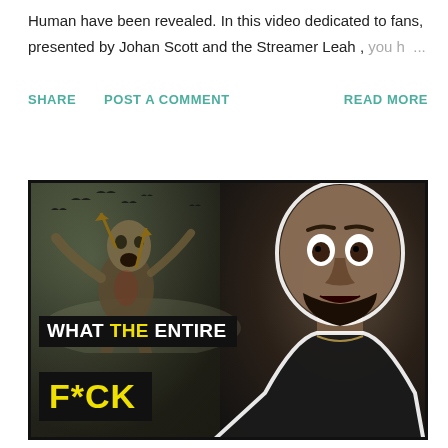Human have been revealed. In this video dedicated to fans, presented by Johan Scott and the Streamer Leah , you h ...
SHARE   POST A COMMENT   READ MORE
[Figure (screenshot): Video thumbnail screenshot showing a zombie creature on the left side with arrows, dark atmospheric forest background with birds, and a surprised-looking man with beard on the right. Text overlay reads 'WHAT THE ENTIRE F*CK' in white and yellow bold letters on black backgrounds.]